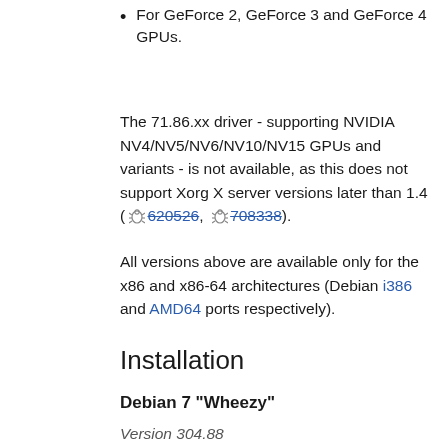For GeForce 2, GeForce 3 and GeForce 4 GPUs.
The 71.86.xx driver - supporting NVIDIA NV4/NV5/NV6/NV10/NV15 GPUs and variants - is not available, as this does not support Xorg X server versions later than 1.4 ( 🐛 620526, 🐛 708338).
All versions above are available only for the x86 and x86-64 architectures (Debian i386 and AMD64 ports respectively).
Installation
Debian 7 "Wheezy"
Version 304.88